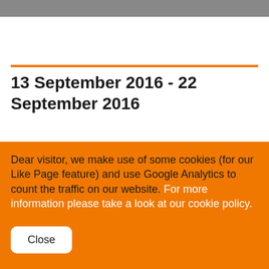13 September 2016 - 22 September 2016
Dear visitor, we make use of some cookies (for our Like Page feature) and use Google Analytics to count the traffic on our website. For more information please take a look at our cookie policy.
Close